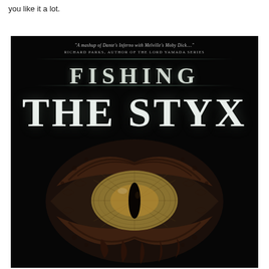you like it a lot.
[Figure (illustration): Book cover for 'Fishing the Styx'. Dark background with a large reptilian/dragon eye in the center. Text reads: 'A mashup of Dante's Inferno with Melville's Moby Dick...' — Richard Parks, author of the Lord Yamada series. Title: FISHING THE STYX in large silver/white serif letters.]